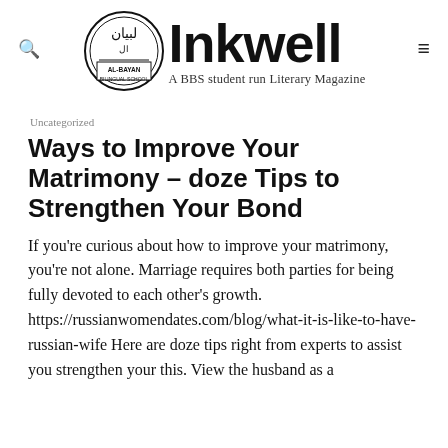[Figure (logo): Al-Bayan Bilingual School logo — circular emblem with Arabic calligraphy and text 'AL-BAYAN BILINGUAL SCHOOL', alongside the large bold text 'Inkwell' and tagline 'A BBS student run Literary Magazine']
Uncategorized
Ways to Improve Your Matrimony – doze Tips to Strengthen Your Bond
If you're curious about how to improve your matrimony, you're not alone. Marriage requires both parties for being fully devoted to each other's growth. https://russianwomendates.com/blog/what-it-is-like-to-have-russian-wife Here are doze tips right from experts to assist you strengthen your this. View the husband as a